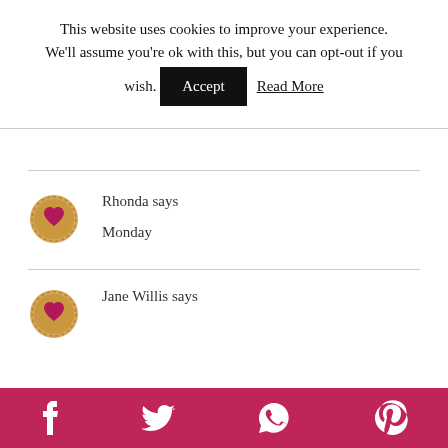This website uses cookies to improve your experience. We'll assume you're ok with this, but you can opt-out if you wish. Accept Read More
Rhonda says
Monday
Jane Willis says